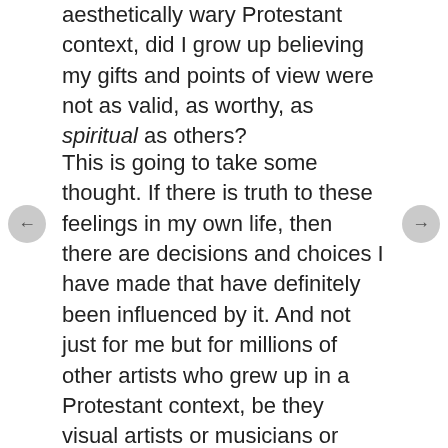aesthetically wary Protestant context, did I grow up believing my gifts and points of view were not as valid, as worthy, as spiritual as others?
This is going to take some thought. If there is truth to these feelings in my own life, then there are decisions and choices I have made that have definitely been influenced by it. And not just for me but for millions of other artists who grew up in a Protestant context, be they visual artists or musicians or dancers or playwrights, etc. If we have felt in any way that we have been marginalized or misunderstood, or that our gifts and sensibilities have been minimized or compartmentalized by the institutions that we were raised in, then we have all been deeply impacted and the church has suffered because